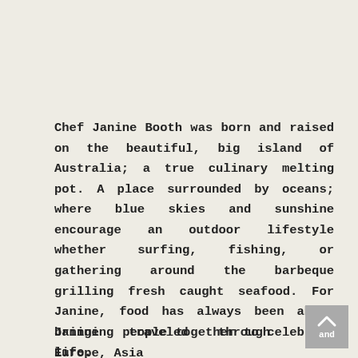Chef Janine Booth was born and raised on the beautiful, big island of Australia; a true culinary melting pot. A place surrounded by oceans; where blue skies and sunshine encourage an outdoor lifestyle whether surfing, fishing, or gathering around the barbeque grilling fresh caught seafood. For Janine, food has always been about bringing people together to celebrate life.
Janine traveled through Europe, Asia and